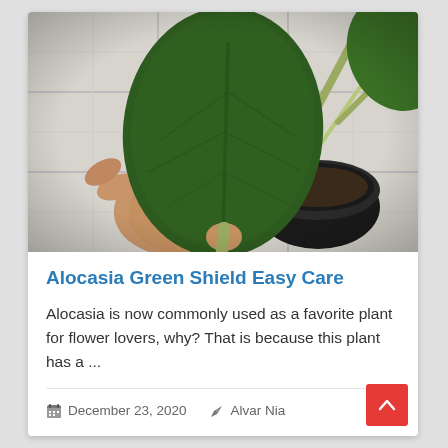[Figure (photo): A hand holding a single dark green heart-shaped Alocasia Green Shield leaf with a light-colored petiole. The background shows a black round pot and white floor tiles.]
Alocasia Green Shield Easy Care
Alocasia is now commonly used as a favorite plant for flower lovers, why? That is because this plant has a ...
December 23, 2020   Alvar Nia